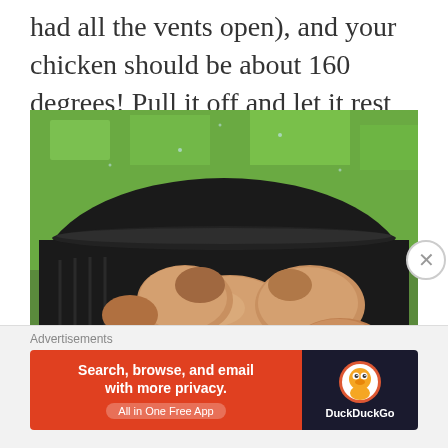had all the vents open), and your chicken should be about 160 degrees! Pull it off and let it rest for about 10 minutes.
[Figure (photo): Grilled chicken pieces arranged in a black round Weber grill with lemon slices, green grass visible in background]
Advertisements
[Figure (screenshot): DuckDuckGo advertisement banner: orange left side with text 'Search, browse, and email with more privacy. All in One Free App', dark right side with DuckDuckGo logo and name]